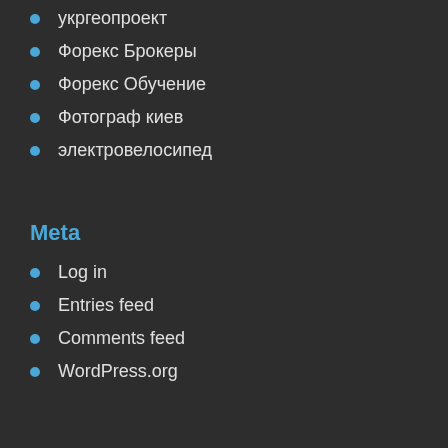укргеопроект
Форекс Брокеры
Форекс Обучение
Фотограф киев
электровелосипед
Meta
Log in
Entries feed
Comments feed
WordPress.org